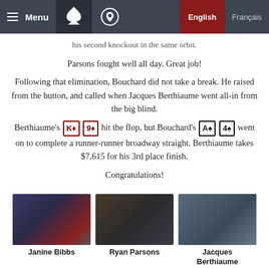Menu | [logo] | [location icon] | English | Français
his second knockout in the same orbit.
Parsons fought well all day. Great job!
Following that elimination, Bouchard did not take a break. He raised from the button, and called when Jacques Berthiaume went all-in from the big blind.
Berthiaume's K♦ 9♦ hit the flop, but Bouchard's A♠ 4♠ went on to complete a runner-runner broadway straight. Berthiaume takes $7,615 for his 3rd place finish.
Congratulations!
[Figure (photo): Photo of Janine Bibbs at poker table]
[Figure (photo): Photo of Ryan Parsons at poker table]
[Figure (photo): Photo of Jacques Berthiaume at poker table]
Janine Bibbs
Ryan Parsons
Jacques Berthiaume